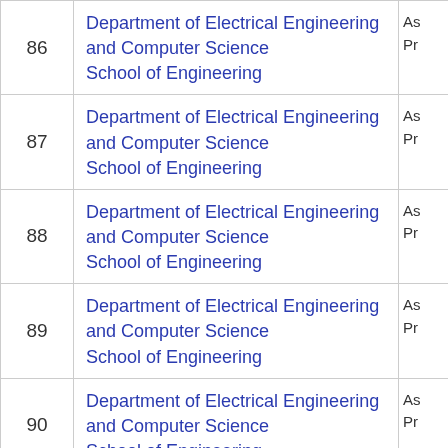| # | Department | Role |
| --- | --- | --- |
| 86 | Department of Electrical Engineering and Computer Science
School of Engineering | As...
Pr... |
| 87 | Department of Electrical Engineering and Computer Science
School of Engineering | As...
Pr... |
| 88 | Department of Electrical Engineering and Computer Science
School of Engineering | As...
Pr... |
| 89 | Department of Electrical Engineering and Computer Science
School of Engineering | As...
Pr... |
| 90 | Department of Electrical Engineering and Computer Science
School of Engineering | As...
Pr... |
|  | Department of Electrical Engineering and Computer | As... |